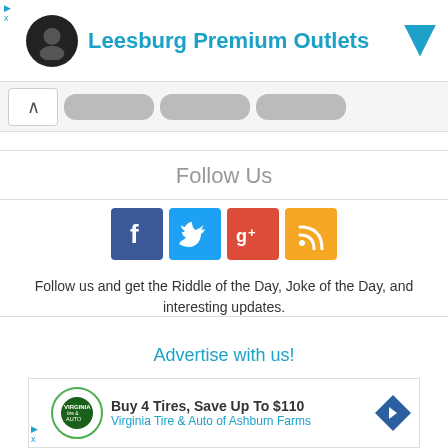[Figure (screenshot): Top advertisement banner for Leesburg Premium Outlets with logo and blue title text]
[Figure (screenshot): Navigation tab area with up-arrow tab and three gray pill-shaped buttons]
Follow Us
[Figure (infographic): Social media icons: Facebook (blue), Twitter (light blue), Google+ (red), RSS (orange)]
Follow us and get the Riddle of the Day, Joke of the Day, and interesting updates.
Advertise with us!
[Figure (screenshot): Bottom advertisement for Virginia Tire & Auto: 'Buy 4 Tires, Save Up To $110' with green circular logo and blue diamond arrow]